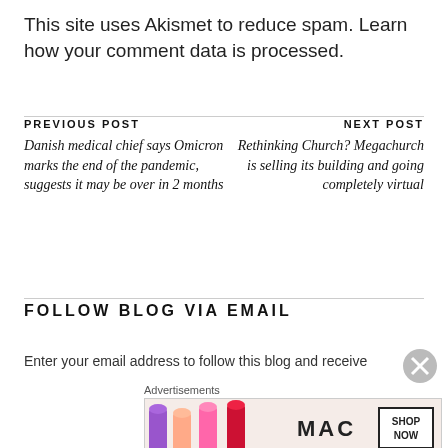This site uses Akismet to reduce spam. Learn how your comment data is processed.
PREVIOUS POST
Danish medical chief says Omicron marks the end of the pandemic, suggests it may be over in 2 months
NEXT POST
Rethinking Church? Megachurch is selling its building and going completely virtual
FOLLOW BLOG VIA EMAIL
Enter your email address to follow this blog and receive
[Figure (photo): MAC cosmetics advertisement banner showing lipsticks with SHOP NOW button]